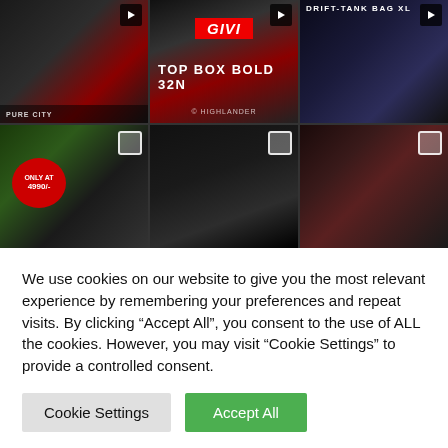[Figure (photo): 3x2 grid of motorcycle product photos: top-left motorcycle top box/case, top-center GIVI Top Box Bold 32N with logo, top-right Drift Tank Bag XL, bottom-left riding jacket with red accents priced at 4990/-, bottom-center GIVI side case mounted on motorcycle, bottom-right red and black motorcycle gloves]
We use cookies on our website to give you the most relevant experience by remembering your preferences and repeat visits. By clicking “Accept All”, you consent to the use of ALL the cookies. However, you may visit “Cookie Settings” to provide a controlled consent.